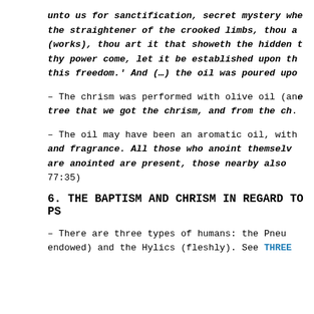unto us for sanctification, secret mystery whe the straightener of the crooked limbs, thou a (works), thou art it that showeth the hidden t thy power come, let it be established upon th this freedom.' And (…) the oil was poured upo
– The chrism was performed with olive oil (and tree that we got the chrism, and from the ch.
– The oil may have been an aromatic oil, with and fragrance. All those who anoint themselv are anointed are present, those nearby also 77:35)
6. THE BAPTISM AND CHRISM IN REGARD TO PS
– There are three types of humans: the Pneu endowed) and the Hylics (fleshly). See THREE